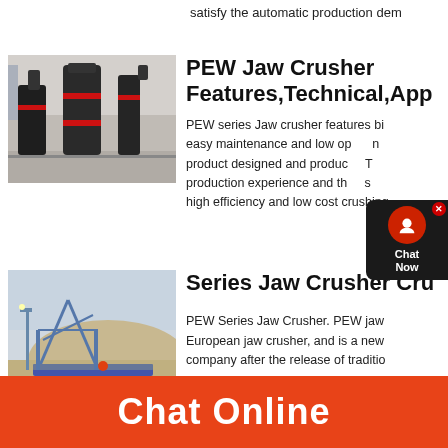satisfy the automatic production dem
PEW Jaw Crusher Features,Technical,App
PEW series Jaw crusher features big... easy maintenance and low op... product designed and produ... production experience and th... s... high efficiency and low cost crushing...
[Figure (photo): Industrial crushers/grinding mills in a factory setting]
Series Jaw Crusher Cru
PEW Series Jaw Crusher. PEW jaw... European jaw crusher, and is a new... company after the release of traditio...
[Figure (photo): Outdoor mining/crushing equipment installation site]
Chat Online